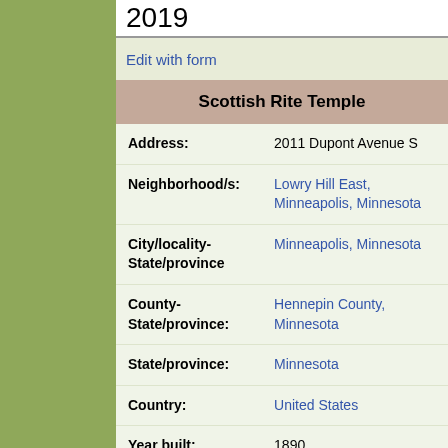2019
Edit with form
| Scottish Rite Temple |
| --- |
| Address: | 2011 Dupont Avenue S |
| Neighborhood/s: | Lowry Hill East, Minneapolis, Minnesota |
| City/locality-State/province | Minneapolis, Minnesota |
| County-State/province: | Hennepin County, Minnesota |
| State/province: | Minnesota |
| Country: | United States |
| Year built: | 1890 |
| Primary Style: | Richardsonian Romanesque |
| Historic Function: | Religious/Place of worship |